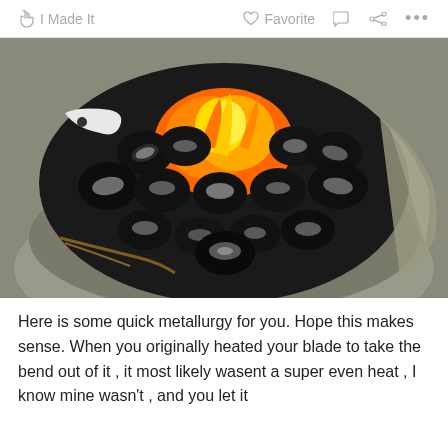I Made It   Favorite   ...
[Figure (photo): Close-up photograph of black charcoal briquettes arranged in a round fire pit/grill, with orange flames visible in the center-top area. The charcoal has white ash on it. The grill basin appears concrete or stone-colored.]
Here is some quick metallurgy for you. Hope this makes sense. When you originally heated your blade to take the bend out of it , it most likely wasent a super even heat , I know mine wasn't , and you let it